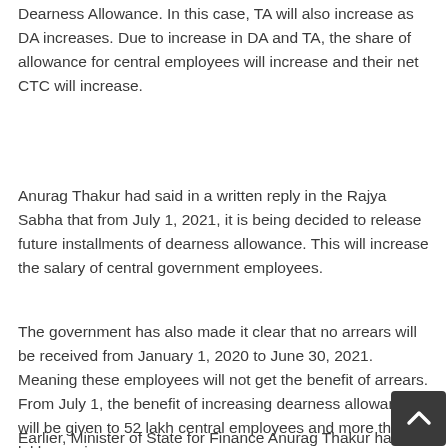Dearness Allowance. In this case, TA will also increase as DA increases. Due to increase in DA and TA, the share of allowance for central employees will increase and their net CTC will increase.
Anurag Thakur had said in a written reply in the Rajya Sabha that from July 1, 2021, it is being decided to release future installments of dearness allowance. This will increase the salary of central government employees.
The government has also made it clear that no arrears will be received from January 1, 2020 to June 30, 2021. Meaning these employees will not get the benefit of arrears. From July 1, the benefit of increasing dearness allowance will be given to 52 lakh central employees and more than 60 lakh pensioners.
Earlier, Minister of State for Finance Anurag Thakur had said in